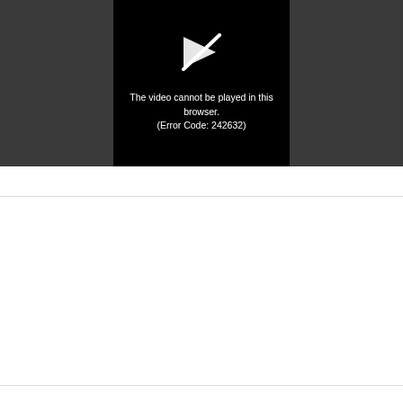[Figure (screenshot): Video player error screen on dark gray background. Center black panel shows a crossed-out play button icon and white text reading: 'The video cannot be played in this browser. (Error Code: 242632)']
The video cannot be played in this browser. (Error Code: 242632)